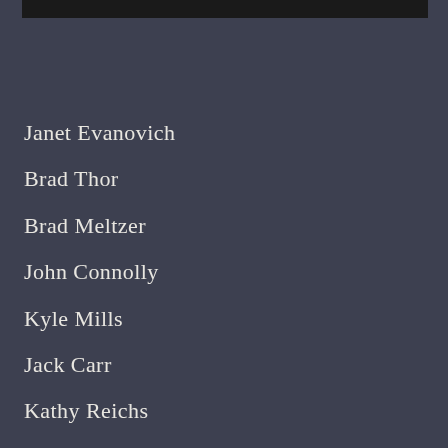[Figure (photo): Dark image strip at the top of the page]
Janet Evanovich
Brad Thor
Brad Meltzer
John Connolly
Kyle Mills
Jack Carr
Kathy Reichs